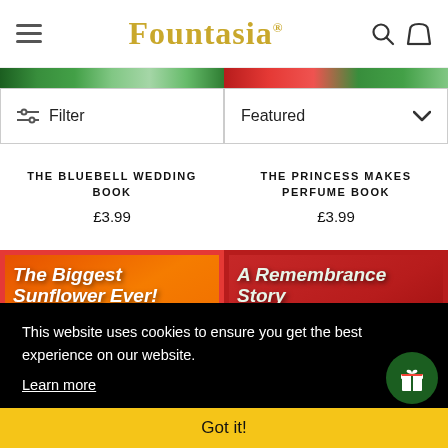Fountasia
[Figure (screenshot): Two book cover images at top: left is The Bluebell Wedding Book (green), right is The Princess Makes Perfume Book (red/green)]
Filter
Featured
THE BLUEBELL WEDDING BOOK
£3.99
THE PRINCESS MAKES PERFUME BOOK
£3.99
[Figure (illustration): Book cover: The Biggest Sunflower Ever! — orange background with illustrated sunflower scene]
[Figure (illustration): Book cover: A Remembrance Story — red background with illustrated poppy/remembrance imagery]
This website uses cookies to ensure you get the best experience on our website.
Learn more
Got it!